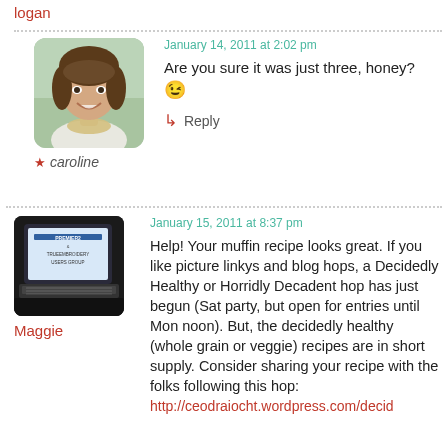logan
January 14, 2011 at 2:02 pm
Are you sure it was just three, honey? 😉
↳ Reply
★ caroline
[Figure (photo): Avatar photo of caroline, a smiling young woman with brown hair]
January 15, 2011 at 8:37 pm
[Figure (photo): Avatar image of Maggie showing a laptop screen with PREMIER2 & TRUEEMBROIDERY USERS GROUP text]
Maggie
Help! Your muffin recipe looks great. If you like picture linkys and blog hops, a Decidedly Healthy or Horridly Decadent hop has just begun (Sat party, but open for entries until Mon noon). But, the decidedly healthy (whole grain or veggie) recipes are in short supply. Consider sharing your recipe with the folks following this hop:
http://ceodraiocht.wordpress.com/decid